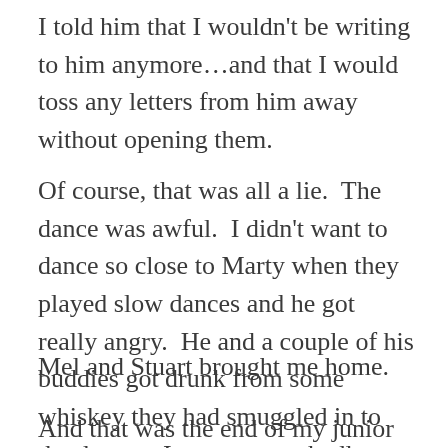I told him that I wouldn't be writing to him anymore…and that I would toss any letters from him away without opening them.
Of course, that was all a lie.  The dance was awful.  I didn't want to dance so close to Marty when they played slow dances and he got really angry.  He and a couple of his buddies got drunk from some whiskey they had smuggled in to the dance.   It was a wretchedly, lonely night.
Mel and Stuart brought me home.
And that was the end of my junior year in high